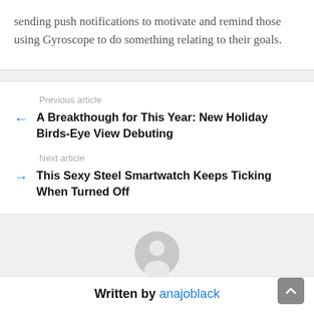sending push notifications to motivate and remind those using Gyroscope to do something relating to their goals.
Previous article
A Breakthough for This Year: New Holiday Birds-Eye View Debuting
Next article
This Sexy Steel Smartwatch Keeps Ticking When Turned Off
[Figure (illustration): Gray circular avatar/user profile icon]
Written by anajoblack